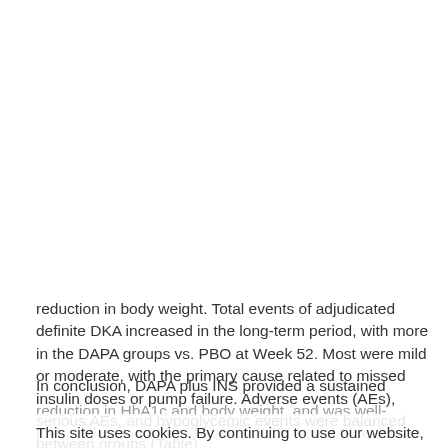reduction in body weight. Total events of adjudicated definite DKA increased in the long-term period, with more in the DAPA groups vs. PBO at Week 52. Most were mild or moderate, with the primary cause related to missed insulin doses or pump failure. Adverse events (AEs), serious AEs, and hypoglycemic events were balanced between groups (Table).
In conclusion, DAPA plus INS provided a sustained
reduction in HbA1c and body weight, and was well-tolerated, but increased events of DKA over 52 weeks in patients with inadequately controlled T1D
This site uses cookies. By continuing to use our website, you are agreeing to our privacy policy. Accept